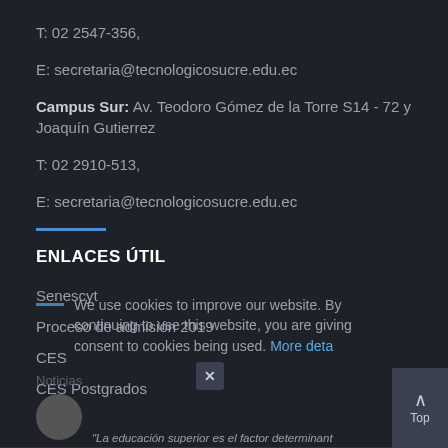T: 02 2547-356,
E: secretaria@tecnologicosucre.edu.ec
Campus Sur: Av. Teodoro Gómez de la Torre S14 - 72 y Joaquín Gutierrez
T: 02 2910-513,
E: secretaria@tecnologicosucre.edu.ec
ENLACES ÚTIL
Senescyt
Proceso de admisión 2019
CES
CES Postgrados
We use cookies to improve our website. By continuing to use this website, you are giving consent to cookies being used. More deta
"La educación superior es el factor determinant